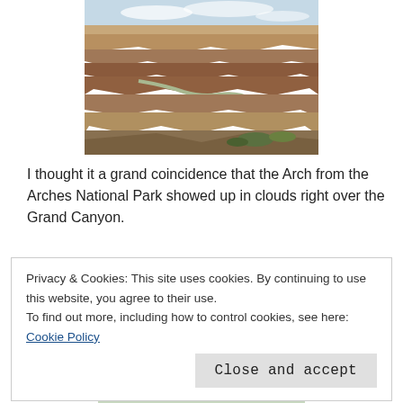[Figure (photo): Aerial view of the Grand Canyon with the Colorado River visible below, rocky layered canyon walls, blue sky with clouds above, and some green vegetation in the foreground]
I thought it a grand coincidence that the Arch from the Arches National Park showed up in clouds right over the Grand Canyon.
Privacy & Cookies: This site uses cookies. By continuing to use this website, you agree to their use.
To find out more, including how to control cookies, see here: Cookie Policy
[Close and accept]
[Figure (photo): Partial view of another outdoor landscape photo at the bottom of the page, showing sky and clouds]